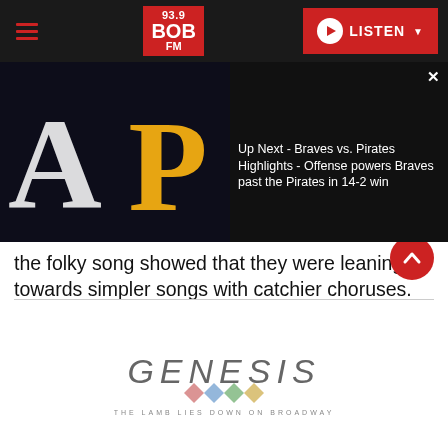[Figure (screenshot): 93.9 BOB FM radio station navigation bar with hamburger menu, logo, and LISTEN button]
[Figure (screenshot): Ad overlay showing Braves vs Pirates baseball logos with text: Ad 1 of 1 (0:30) and Up Next - Braves vs. Pirates Highlights - Offense powers Braves past the Pirates in 14-2 win]
the folky song showed that they were leaning towards simpler songs with catchier choruses. Despite having an insane amount of talent in the band, they realized that they didn't have to show off their chops on every song.
[Figure (logo): Genesis - The Lamb Lies Down on Broadway album logo]